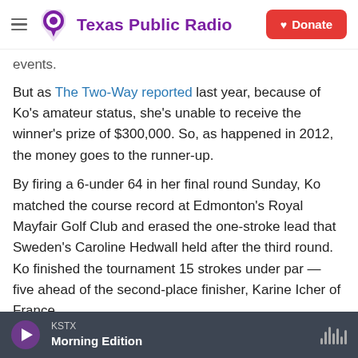Texas Public Radio — Donate
events.
But as The Two-Way reported last year, because of Ko's amateur status, she's unable to receive the winner's prize of $300,000. So, as happened in 2012, the money goes to the runner-up.
By firing a 6-under 64 in her final round Sunday, Ko matched the course record at Edmonton's Royal Mayfair Golf Club and erased the one-stroke lead that Sweden's Caroline Hedwall held after the third round. Ko finished the tournament 15 strokes under par — five ahead of the second-place finisher, Karine Icher of France.
KSTX — Morning Edition